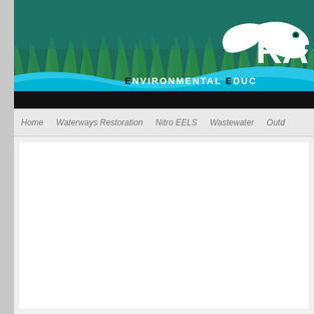[Figure (screenshot): Website header banner showing underwater green grass/seagrass background with a teal color scheme. A white eel/fish logo appears on the right side with text 'RA' and 'ENVIRONMENTAL EDUC' visible in white and blue lettering on a wave-shaped blue banner at the bottom of the header.]
Home   Waterways Restoration   Nitro EELS   Wastewater   Outd
[Figure (screenshot): White/light gray empty content area of a website, mostly blank white space]